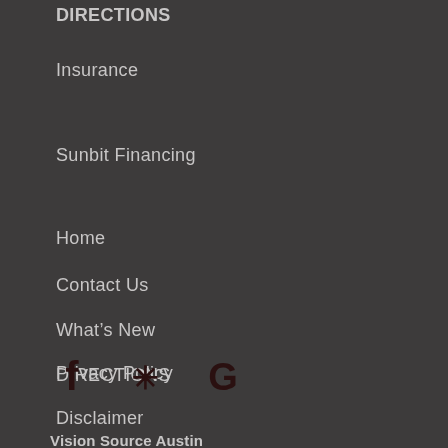Insurance
Sunbit Financing
Home
Contact Us
What's New
DIRECTIONS
Privacy Policy
Disclaimer
[Figure (illustration): Social media icons: Facebook (f), Yelp (asterisk/star), Google (G)]
Vision Source Austin